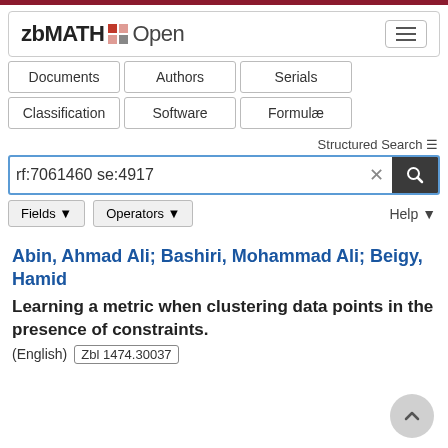[Figure (logo): zbMATH Open logo with colored grid icon and hamburger menu button]
[Figure (screenshot): Navigation tabs: Documents, Authors, Serials, Classification, Software, Formulae]
Structured Search
[Figure (screenshot): Search box with query 'rf:7061460 se:4917', clear button, search icon, Fields and Operators dropdowns, Help button]
Abin, Ahmad Ali; Bashiri, Mohammad Ali; Beigy, Hamid
Learning a metric when clustering data points in the presence of constraints.
(English) Zbl 1474.30037